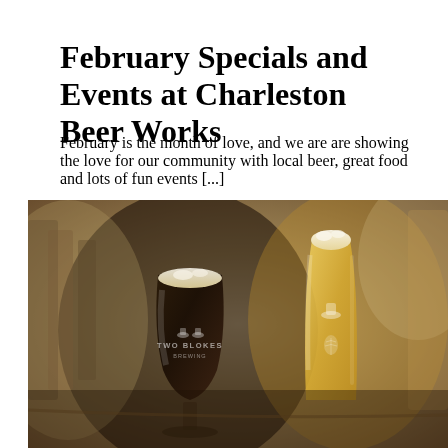February Specials and Events at Charleston Beer Works
February is the month of love, and we are are showing the love for our community with local beer, great food and lots of fun events [...]
Read more
[Figure (photo): Two beer glasses on a bar — a dark beer in a tulip glass branded 'Two Blokes Brewing' on the left, and a light golden beer in a tall pint glass on the right. Brewery equipment visible in the blurred background.]